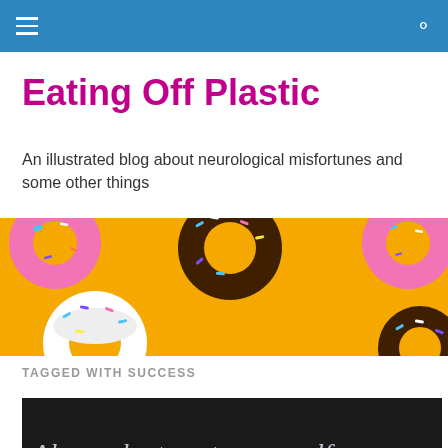☰  🔍
Eating Off Plastic
An illustrated blog about neurological misfortunes and some other things
[Figure (illustration): Yellow background with illustrated donuts — pink-frosted donuts with sprinkles, a brown chocolate-frosted donut with colorful sprinkles, and a white-frosted donut, arranged across a wide banner.]
TAGGED WITH SUCCESS
[Figure (illustration): Dark/black background with italic serif text reading: Always be true to yourself]